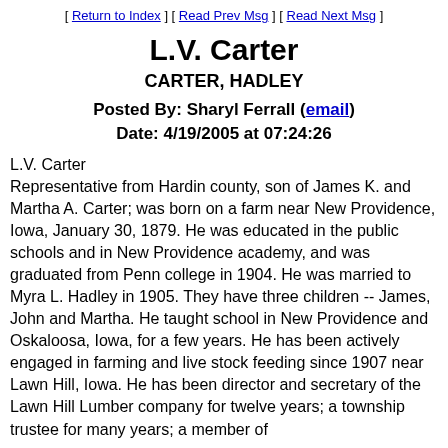[ Return to Index ] [ Read Prev Msg ] [ Read Next Msg ]
L.V. Carter
CARTER, HADLEY
Posted By: Sharyl Ferrall (email)
Date: 4/19/2005 at 07:24:26
L.V. Carter
Representative from Hardin county, son of James K. and Martha A. Carter; was born on a farm near New Providence, Iowa, January 30, 1879. He was educated in the public schools and in New Providence academy, and was graduated from Penn college in 1904. He was married to Myra L. Hadley in 1905. They have three children -- James, John and Martha. He taught school in New Providence and Oskaloosa, Iowa, for a few years. He has been actively engaged in farming and live stock feeding since 1907 near Lawn Hill, Iowa. He has been director and secretary of the Lawn Hill Lumber company for twelve years; a township trustee for many years; a member of